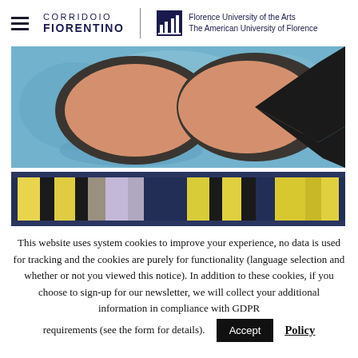CORRIDOIO FIORENTINO | Florence University of the Arts The American University of Florence
[Figure (illustration): Painting showing two large oval/egg shapes with peach/salmon fill and dark outlines on a blue watercolor background]
[Figure (illustration): Painting showing colorful abstract rectangular shapes in yellow, black, grey, and lavender on a dark blue fabric background]
This website uses system cookies to improve your experience, no data is used for tracking and the cookies are purely for functionality (language selection and whether or not you viewed this notice). In addition to these cookies, if you choose to sign-up for our newsletter, we will collect your additional information in compliance with GDPR requirements (see the form for details).
Accept
Policy